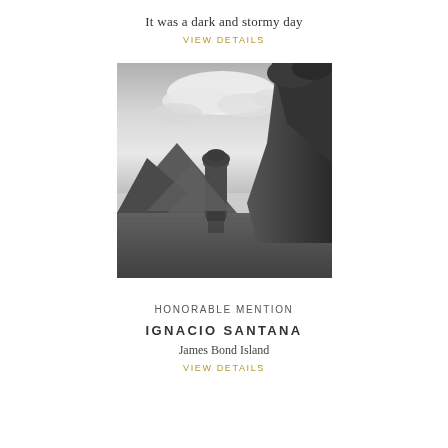It was a dark and stormy day
VIEW DETAILS
[Figure (photo): Black and white landscape photograph of James Bond Island (Khao Phing Kan), Thailand — a tall rocky limestone pillar rising from calm water, surrounded by large limestone cliffs and tropical vegetation, with dramatic cloudy sky above.]
HONORABLE MENTION
IGNACIO SANTANA
James Bond Island
VIEW DETAILS